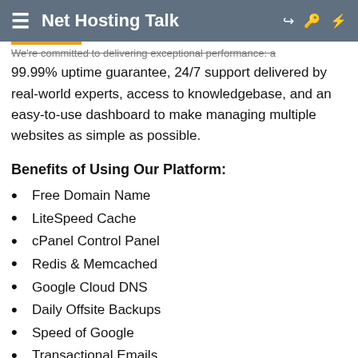Net Hosting Talk
99.99% uptime guarantee, 24/7 support delivered by real-world experts, access to knowledgebase, and an easy-to-use dashboard to make managing multiple websites as simple as possible.
Benefits of Using Our Platform:
Free Domain Name
LiteSpeed Cache
cPanel Control Panel
Redis & Memcached
Google Cloud DNS
Daily Offsite Backups
Speed of Google
Transactional Emails
QUIC CDN, the HTTP/3
Special Deal for Limited Time! Get Exclusive 75% OFF by Using Coupon: UQUO75